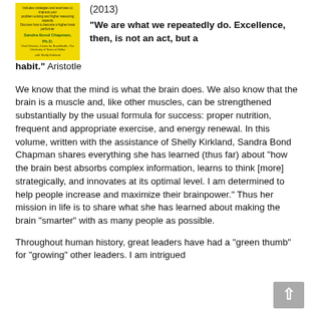[Figure (illustration): Book cover with yellow background showing Sandra Bond Chapman Ph.D. and Shelly Kirkland, with small text about brain performance]
(2013)
“We are what we repeatedly do. Excellence, then, is not an act, but a habit.” Aristotle
We know that the mind is what the brain does. We also know that the brain is a muscle and, like other muscles, can be strengthened substantially by the usual formula for success: proper nutrition, frequent and appropriate exercise, and energy renewal. In this volume, written with the assistance of Shelly Kirkland, Sandra Bond Chapman shares everything she has learned (thus far) about “how the brain best absorbs complex information, learns to think [more] strategically, and innovates at its optimal level. I am determined to help people increase and maximize their brainpower.” Thus her mission in life is to share what she has learned about making the brain “smarter” with as many people as possible.
Throughout human history, great leaders have had a “green thumb” for “growing” other leaders. I am intrigued